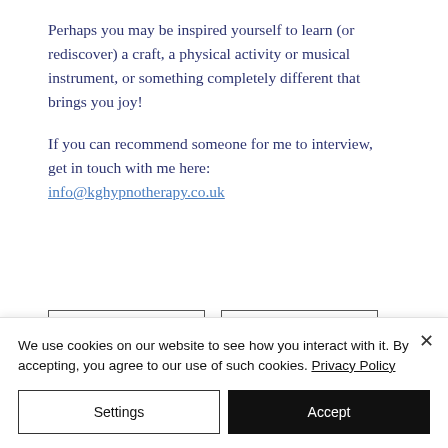Perhaps you may be inspired yourself to learn (or rediscover) a craft, a physical activity or musical instrument, or something completely different that brings you joy!
If you can recommend someone for me to interview, get in touch with me here: info@kghypnotherapy.co.uk
We use cookies on our website to see how you interact with it. By accepting, you agree to our use of such cookies. Privacy Policy